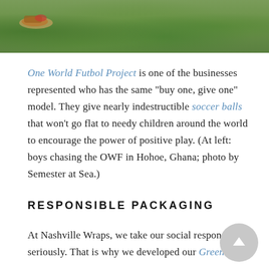[Figure (photo): Photo of boys playing soccer on grass, partial view showing shoes and green grass field (Hohoe, Ghana).]
One World Futbol Project is one of the businesses represented who has the same “buy one, give one” model. They give nearly indestructible soccer balls that won’t go flat to needy children around the world to encourage the power of positive play. (At left: boys chasing the OWF in Hohoe, Ghana; photo by Semester at Sea.)
RESPONSIBLE PACKAGING
At Nashville Wraps, we take our social responsibility seriously. That is why we developed our Green Way®